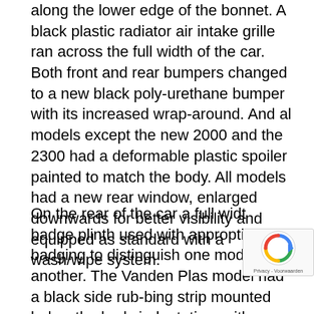along the lower edge of the bonnet. A black plastic radiator air intake grille ran across the full width of the car. Both front and rear bumpers changed to a new black poly-urethane bumper with its increased wrap-around. And al models except the new 2000 and the 2300 had a deformable plastic spoiler painted to match the body. All models had a new rear window, enlarged downwards for better visibility and equipped as standard with a wash/wipe system.
On the rear of the car a full widt badge plinth used with approptiate badging to distinguish one model from another. The Vanden Plas model had a black side rub-bing strip mounted below the body indentation, with a bright insert to continue the bumper line. Restyled alloy wheels were stan... on the 2500SE and on the above the model and...